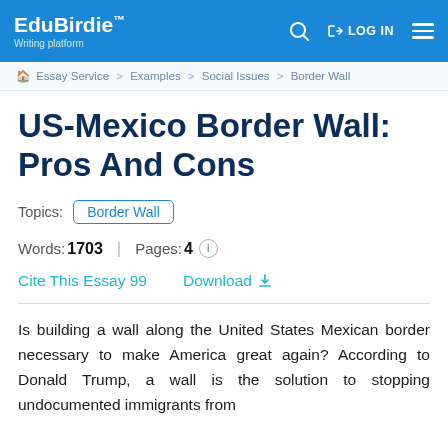EduBirdie™ Writing platform | LOG IN
Essay Service > Examples > Social Issues > Border Wall
US-Mexico Border Wall: Pros And Cons
Topics: Border Wall
Words: 1703 | Pages: 4
Cite This Essay 99   Download
Is building a wall along the United States Mexican border necessary to make America great again? According to Donald Trump, a wall is the solution to stopping undocumented immigrants from